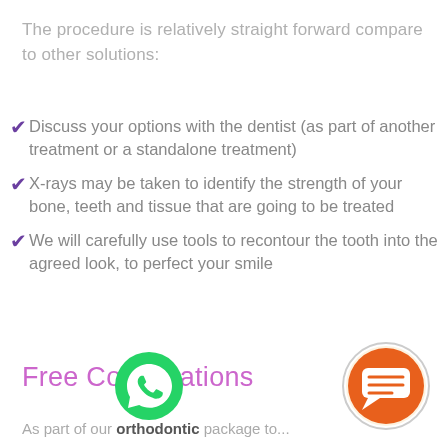The procedure is relatively straight forward compare to other solutions:
Discuss your options with the dentist (as part of another treatment or a standalone treatment)
X-rays may be taken to identify the strength of your bone, teeth and tissue that are going to be treated
We will carefully use tools to recontour the tooth into the agreed look, to perfect your smile
Free Consultations
As part of our orthodontic package to...